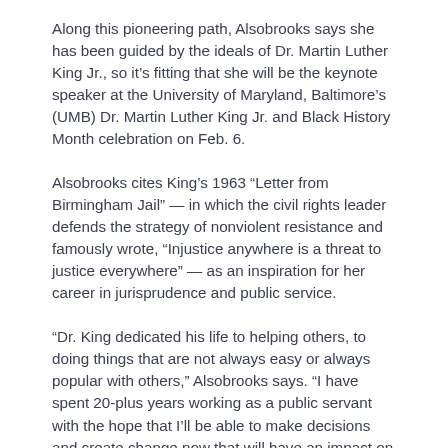Along this pioneering path, Alsobrooks says she has been guided by the ideals of Dr. Martin Luther King Jr., so it's fitting that she will be the keynote speaker at the University of Maryland, Baltimore's (UMB) Dr. Martin Luther King Jr. and Black History Month celebration on Feb. 6.
Alsobrooks cites King's 1963 “Letter from Birmingham Jail” — in which the civil rights leader defends the strategy of nonviolent resistance and famously wrote, “Injustice anywhere is a threat to justice everywhere” — as an inspiration for her career in jurisprudence and public service.
“Dr. King dedicated his life to helping others, to doing things that are not always easy or always popular with others,” Alsobrooks says. “I have spent 20-plus years working as a public servant with the hope that I’ll be able to make decisions and create change now that will have an impact on our future generations, just as Dr. King did.”
Alsobrooks also...